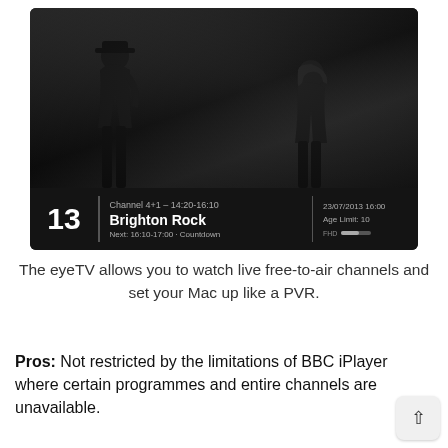[Figure (screenshot): Screenshot of eyeTV application showing a black and white film 'Brighton Rock' on Channel 4+1, with a channel info bar showing channel number 13, programme time 14:20-16:10, date 23/07/2013 16:00, Age Limit: 10, and Next: 16:10-17:00 - Countdown]
The eyeTV allows you to watch live free-to-air channels and set your Mac up like a PVR.
Pros: Not restricted by the limitations of BBC iPlayer where certain programmes and entire channels are unavailable.